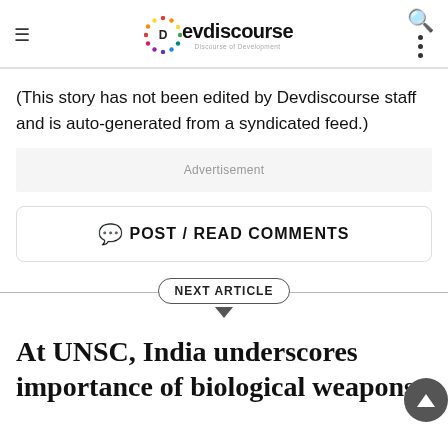Devdiscourse — Discourse of Development
(This story has not been edited by Devdiscourse staff and is auto-generated from a syndicated feed.)
Advertisement
POST / READ COMMENTS
NEXT ARTICLE
At UNSC, India underscores importance of biological weapons